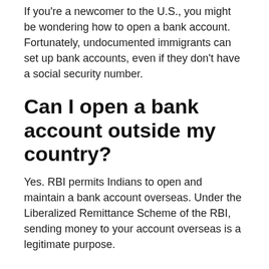If you're a newcomer to the U.S., you might be wondering how to open a bank account. Fortunately, undocumented immigrants can set up bank accounts, even if they don't have a social security number.
Can I open a bank account outside my country?
Yes. RBI permits Indians to open and maintain a bank account overseas. Under the Liberalized Remittance Scheme of the RBI, sending money to your account overseas is a legitimate purpose.
Can non EU citizens open bank account in UK?